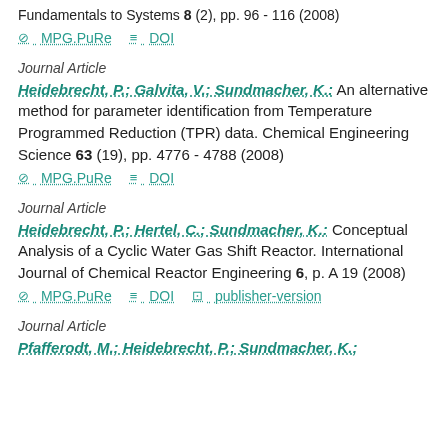Fundamentals to Systems 8 (2), pp. 96 - 116 (2008)
MPG.PuRe   DOI
Journal Article
Heidebrecht, P.; Galvita, V.; Sundmacher, K.: An alternative method for parameter identification from Temperature Programmed Reduction (TPR) data. Chemical Engineering Science 63 (19), pp. 4776 - 4788 (2008)
MPG.PuRe   DOI
Journal Article
Heidebrecht, P.; Hertel, C.; Sundmacher, K.: Conceptual Analysis of a Cyclic Water Gas Shift Reactor. International Journal of Chemical Reactor Engineering 6, p. A 19 (2008)
MPG.PuRe   DOI   publisher-version
Journal Article
Pfafferodt, M.; Heidebrecht, P.; Sundmacher, K.;